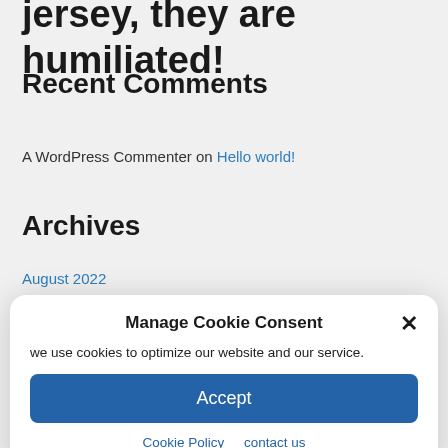jersey, they are humiliated!
Recent Comments
A WordPress Commenter on Hello world!
Archives
August 2022
[Figure (screenshot): Cookie consent modal dialog with title 'Manage Cookie Consent', close button (×), body text 'we use cookies to optimize our website and our service.', an Accept button, and links to Cookie Policy and contact us.]